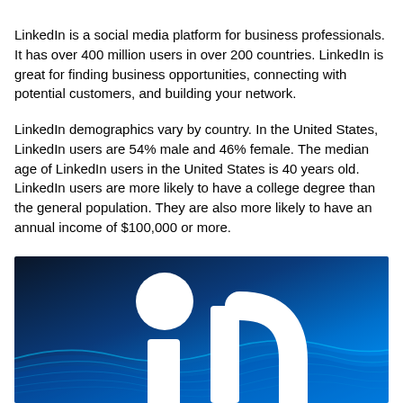LinkedIn is a social media platform for business professionals. It has over 400 million users in over 200 countries. LinkedIn is great for finding business opportunities, connecting with potential customers, and building your network.
LinkedIn demographics vary by country. In the United States, LinkedIn users are 54% male and 46% female. The median age of LinkedIn users in the United States is 40 years old. LinkedIn users are more likely to have a college degree than the general population. They are also more likely to have an annual income of $100,000 or more.
[Figure (illustration): LinkedIn branded image with blue gradient background, wavy light blue lines, a white circle and partial white 'in' logo letters visible]